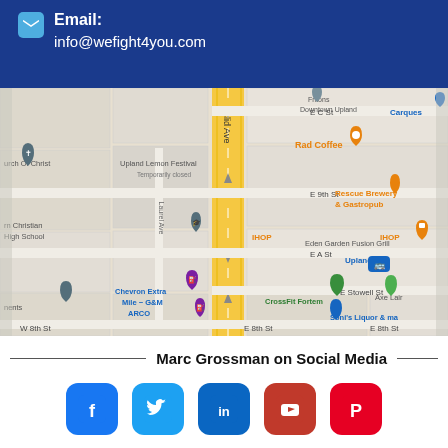Email: info@wefight4you.com
[Figure (map): Google Maps view of Upland, CA area showing Euclid Ave, E 9th St, E A St, E 8th St, W 8th St, E Stowell St. Landmarks include Upland Lemon Festival (Temporarily closed), Rad Coffee, Rescue Brewery & Gastropub, IHOP, Eden Garden Fusion Grill, Upland transit, Chevron Extra Mile G&M, ARCO, CrossFit Fortem, Axe Lair, Soni's Liquor & more, and Church of Christ.]
Marc Grossman on Social Media
[Figure (infographic): Row of 5 social media icons: Facebook (blue), Twitter (light blue), LinkedIn (dark blue), YouTube (red), Pinterest (red)]